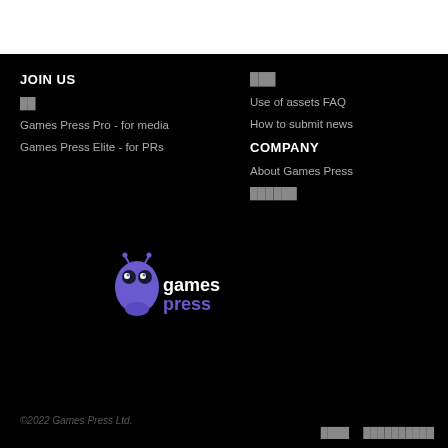JOIN US
██
Games Press Pro - for media
Games Press Elite - for PRs
███
Use of assets FAQ
How to submit news
COMPANY
About Games Press
██████
[Figure (logo): Games Press logo - purple bug mascot with 'games press' text]
©2022 Games Press Ltd.
████  ██████████